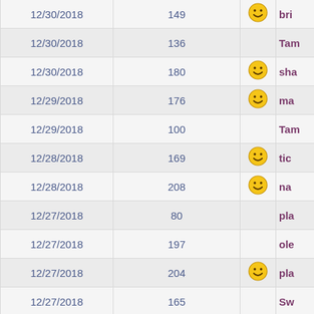| Date | Number | Icon | Name |
| --- | --- | --- | --- |
| 12/30/2018 | 149 | smiley | bri |
| 12/30/2018 | 136 |  | Ta |
| 12/30/2018 | 180 | smiley | sh |
| 12/29/2018 | 176 | smiley | ma |
| 12/29/2018 | 100 |  | Ta |
| 12/28/2018 | 169 | smiley | tic |
| 12/28/2018 | 208 | smiley | na |
| 12/27/2018 | 80 |  | pla |
| 12/27/2018 | 197 |  | ole |
| 12/27/2018 | 204 | smiley | pla |
| 12/27/2018 | 165 |  | Sw |